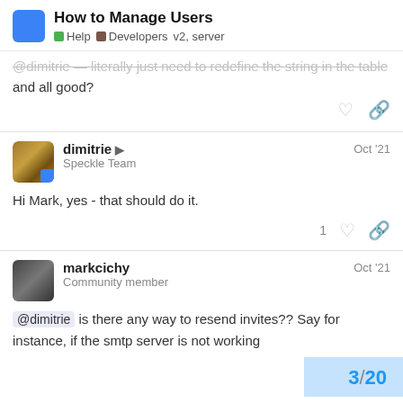How to Manage Users | Help | Developers | v2, server
@dimitrie — literally just need to redefine the string in the table and all good?
dimitrie  Speckle Team  Oct '21
Hi Mark, yes - that should do it.
markcichy  Community member  Oct '21
@dimitrie is there any way to resend invites?? Say for instance, if the smtp server is not working
3 / 20